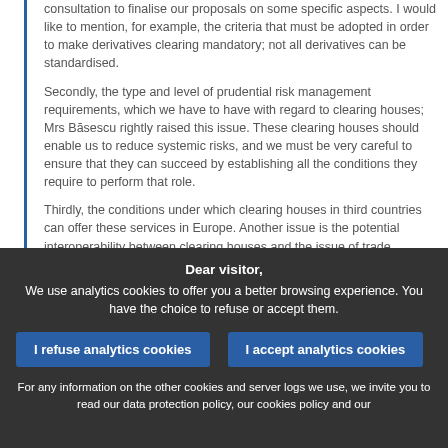consultation to finalise our proposals on some specific aspects. I would like to mention, for example, the criteria that must be adopted in order to make derivatives clearing mandatory; not all derivatives can be standardised.

Secondly, the type and level of prudential risk management requirements, which we have to have with regard to clearing houses; Mrs Băsescu rightly raised this issue. These clearing houses should enable us to reduce systemic risks, and we must be very careful to ensure that they can succeed by establishing all the conditions they require to perform that role.

Thirdly, the conditions under which clearing houses in third countries can offer these services in Europe. Another issue is the potential interoperability between clearing houses and the issue of trade repositories; these are key infrastructures, since they will compile all information on transactions. How should we regulate them? Should we demand that they be established in the European Union? These are all questions to which we will pay close attention, and we should be mindful of the answers that we will be given. We will also take into account the results of
Dear visitor,
We use analytics cookies to offer you a better browsing experience. You have the choice to refuse or accept them.

I refuse analytics cookies | I accept analytics cookies

For any information on the other cookies and server logs we use, we invite you to read our data protection policy, our cookies policy and our